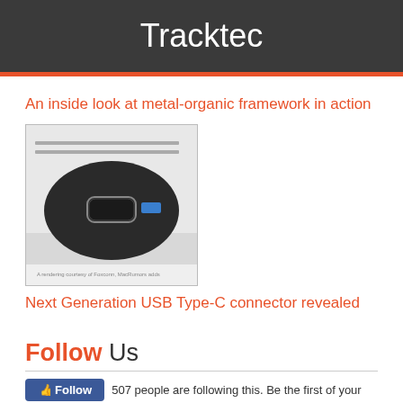Tracktec
An inside look at metal-organic framework in action
[Figure (photo): Close-up photo of a USB Type-C connector on a device, showing the small oval port and surrounding hardware with a caption watermark text at the bottom.]
Next Generation USB Type-C connector revealed
Follow Us
507 people are following this. Be the first of your
Back to Top